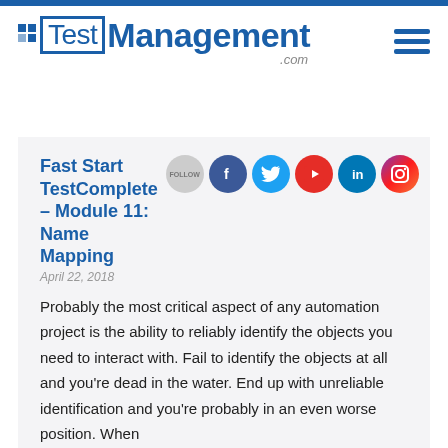TestManagement.com
Fast Start TestComplete – Module 11: Name Mapping
April 22, 2018
Probably the most critical aspect of any automation project is the ability to reliably identify the objects you need to interact with. Fail to identify the objects at all and you're dead in the water. End up with unreliable identification and you're probably in an even worse position. When